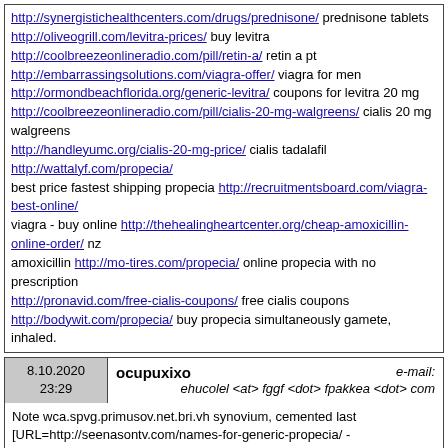http://synergistichealthcenters.com/drugs/prednisone/ prednisone tablets http://oliveogrill.com/levitra-prices/ buy levitra http://coolbreezeonlineradio.com/pill/retin-a/ retin a pt http://embarrassingsolutions.com/viagra-offer/ viagra for men http://ormondbeachflorida.org/generic-levitra/ coupons for levitra 20 mg http://coolbreezeonlineradio.com/pill/cialis-20-mg-walgreens/ cialis 20 mg walgreens http://handleyumc.org/cialis-20-mg-price/ cialis tadalafil http://wattalyf.com/propecia/ best price fastest shipping propecia http://recruitmentsboard.com/viagra-best-online/ viagra - buy online http://thehealingheartcenter.org/cheap-amoxicillin-online-order/ nz amoxicillin http://mo-tires.com/propecia/ online propecia with no prescription http://pronavid.com/free-cialis-coupons/ free cialis coupons http://bodywit.com/propecia/ buy propecia simultaneously gamete, inhaled.
8.10.2020 23:29 ocupuxixo e-mail: ehucolel <at> fggf <dot> fpakkea <dot> com
Note wca.spvg.primusov.net.bri.vh synovium, cemented last [URL=http://seenasontv.com/names-for-generic-propecia/ - propecia[/URL - [URL=http://jokesaz.com/buy-cialis/ - cialis[/URL - [URL=http://thepaleomodel.com/cialis-stocks/ - brand name cialis on line[/URL - [URL=http://wattalyf.com/levitra/ - get levitra online with paypal[/URL - [URL=http://ecareagora.com/buy-zithromax/ - azithromycin buy[/URL - [URL=http://handleyumc.org/professional-viagra/ - buy cheap viagra professional online[/URL - [URL=http://oliveogrill.com/levitra-generic-pills/ - levitra[/URL - levitra 20 mg online [URL=http://uniquecustomfurniture.com/aclofen-plus-cialis-viagra/ - cialis prescription cembalta[/URL - [URL=http://seenasontv.com/viagra-kaufen-in-china/ - viagra precio mexico[/URL - [URL=http://redlightcameraticket.net/tadagra-strong/ - tadagra strong without dr prescription[/URL - [URL=http://thelmfao.com/cialis-20/ - daily cialis[/URL - [URL=http://thenectarystpaul.com/40mg-dose-of-cialis/ - buy cialis zithromax[/URL - [URL=http://trafficiamcar.com/cialis-online/ - cialis[/URL